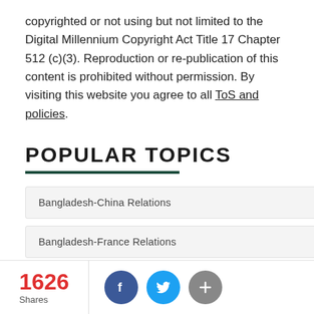copyrighted or not using but not limited to the Digital Millennium Copyright Act Title 17 Chapter 512 (c)(3). Reproduction or re-publication of this content is prohibited without permission. By visiting this website you agree to all ToS and policies.
POPULAR TOPICS
Bangladesh-China Relations
Bangladesh-France Relations
Bangladesh-India Relations
1626 Shares